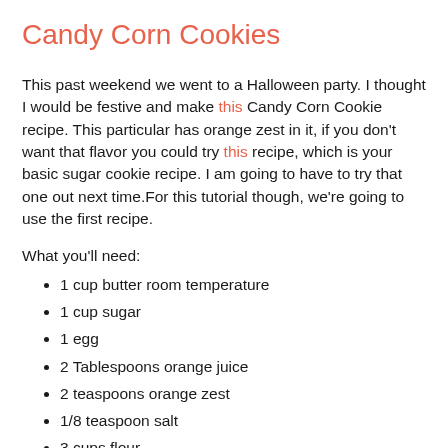Candy Corn Cookies
This past weekend we went to a Halloween party. I thought I would be festive and make this Candy Corn Cookie recipe. This particular has orange zest in it, if you don't want that flavor you could try this recipe, which is your basic sugar cookie recipe. I am going to have to try that one out next time.For this tutorial though, we're going to use the first recipe.
What you'll need:
1 cup butter room temperature
1 cup sugar
1 egg
2 Tablespoons orange juice
2 teaspoons orange zest
1/8 teaspoon salt
3 cups flour